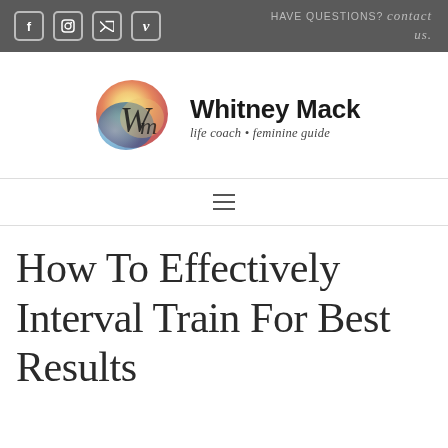Social icons: Facebook, Instagram, Twitter, Vimeo | HAVE QUESTIONS? contact us.
[Figure (logo): Whitney Mack logo with colorful circular watercolor emblem and script monogram 'Wm', brand name 'Whitney Mack', tagline 'life coach · feminine guide']
Hamburger menu navigation bar
How To Effectively Interval Train For Best Results